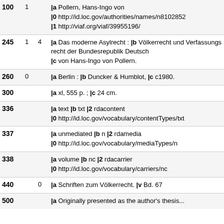| Field | Ind1 | Ind2 | Content |
| --- | --- | --- | --- |
| 100 | 1 |  | |a Pollern, Hans-Ingo von |0 http://id.loc.gov/authorities/names/n8102852 |1 http://viaf.org/viaf/39955196/ |
| 245 | 1 | 4 | |a Das moderne Asylrecht : |b Völkerrecht und Verfassungsrecht der Bundesrepublik Deutsch |c von Hans-Ingo von Pollern. |
| 260 | 0 |  | |a Berlin : |b Duncker & Humblot, |c c1980. |
| 300 |  |  | |a xl, 555 p. ; |c 24 cm. |
| 336 |  |  | |a text |b txt |2 rdacontent |0 http://id.loc.gov/vocabulary/contentTypes/txt |
| 337 |  |  | |a unmediated |b n |2 rdamedia |0 http://id.loc.gov/vocabulary/mediaTypes/n |
| 338 |  |  | |a volume |b nc |2 rdacarrier |0 http://id.loc.gov/vocabulary/carriers/nc |
| 440 |  | 0 | |a Schriften zum Völkerrecht. |v Bd. 67 |
| 500 |  |  | |a Originally presented as the author's thesis... |